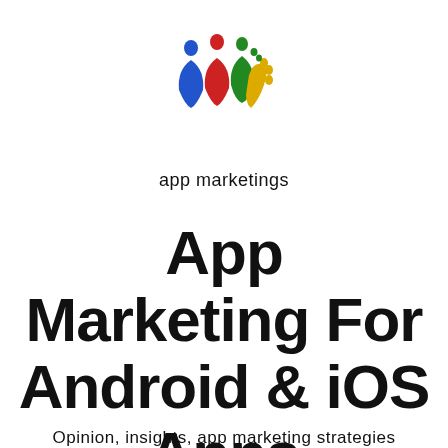[Figure (logo): App marketings logo: colorful stylized hand/figures in red, blue, green, yellow with circular heads above, accompanied by text 'app marketings' below]
App Marketing For Android & iOS Apps
Opinion, insights, app marketing strategies